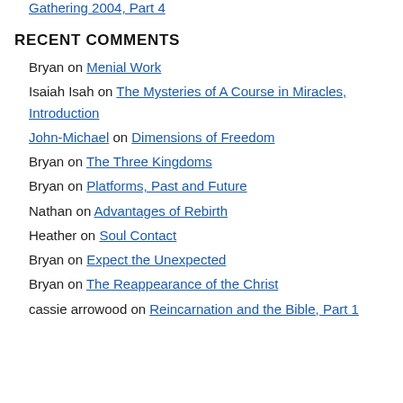Gathering 2004, Part 4
RECENT COMMENTS
Bryan on Menial Work
Isaiah Isah on The Mysteries of A Course in Miracles, Introduction
John-Michael on Dimensions of Freedom
Bryan on The Three Kingdoms
Bryan on Platforms, Past and Future
Nathan on Advantages of Rebirth
Heather on Soul Contact
Bryan on Expect the Unexpected
Bryan on The Reappearance of the Christ
cassie arrowood on Reincarnation and the Bible, Part 1